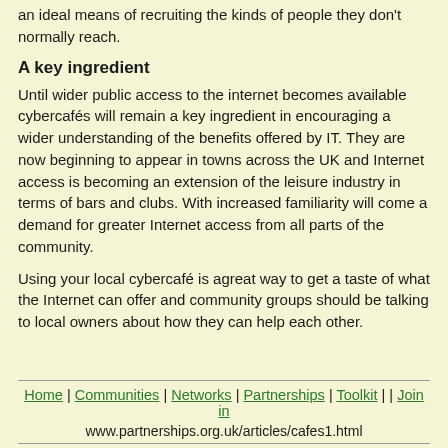an ideal means of recruiting the kinds of people they don't normally reach.
A key ingredient
Until wider public access to the internet becomes available cybercafés will remain a key ingredient in encouraging a wider understanding of the benefits offered by IT. They are now beginning to appear in towns across the UK and Internet access is becoming an extension of the leisure industry in terms of bars and clubs. With increased familiarity will come a demand for greater Internet access from all parts of the community.
Using your local cybercafé is agreat way to get a taste of what the Internet can offer and community groups should be talking to local owners about how they can help each other.
Home | Communities | Networks | Partnerships | Toolkit | | Join in
www.partnerships.org.uk/articles/cafes1.html